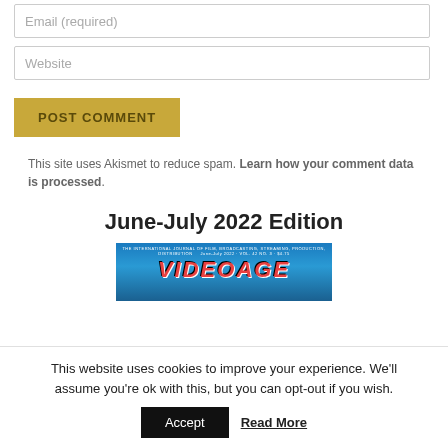Email (required)
Website
POST COMMENT
This site uses Akismet to reduce spam. Learn how your comment data is processed.
June-July 2022 Edition
[Figure (photo): Magazine cover of VideoAge with blue background and red stylized title text]
This website uses cookies to improve your experience. We'll assume you're ok with this, but you can opt-out if you wish.
Accept
Read More